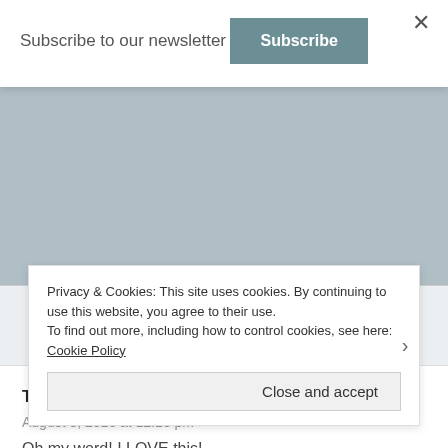Subscribe to our newsletter
Subscribe
Reply
Tamara Leigh: The Kitchen Novelist says:
August 3, 2016 at 12:18 pm
Oh my word! I LOVE this!
Privacy & Cookies: This site uses cookies. By continuing to use this website, you agree to their use.
To find out more, including how to control cookies, see here: Cookie Policy
Close and accept